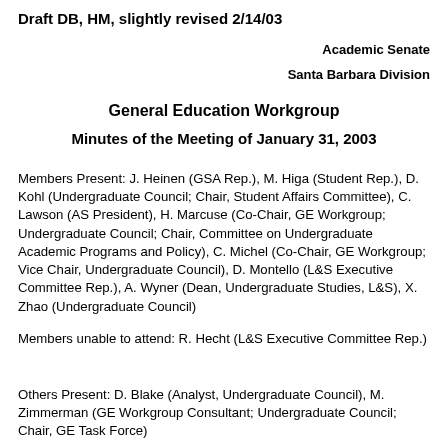Draft DB, HM, slightly revised 2/14/03
Academic Senate
Santa Barbara Division
General Education Workgroup
Minutes of the Meeting of January 31, 2003
Members Present: J. Heinen (GSA Rep.), M. Higa (Student Rep.), D. Kohl (Undergraduate Council; Chair, Student Affairs Committee), C. Lawson (AS President), H. Marcuse (Co-Chair, GE Workgroup; Undergraduate Council; Chair, Committee on Undergraduate Academic Programs and Policy), C. Michel (Co-Chair, GE Workgroup; Vice Chair, Undergraduate Council), D. Montello (L&S Executive Committee Rep.), A. Wyner (Dean, Undergraduate Studies, L&S), X. Zhao (Undergraduate Council)
Members unable to attend: R. Hecht (L&S Executive Committee Rep.)
Others Present: D. Blake (Analyst, Undergraduate Council), M. Zimmerman (GE Workgroup Consultant; Undergraduate Council; Chair, GE Task Force)